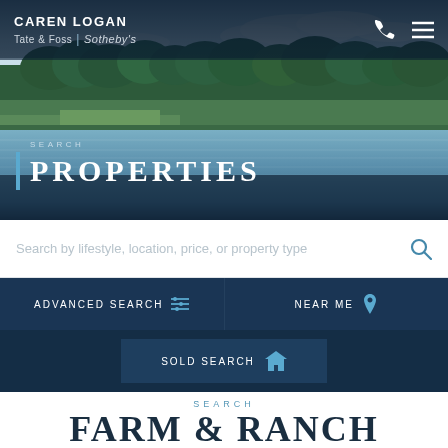[Figure (photo): Aerial/waterfront landscape photo showing a calm body of water with green marshlands, trees in the background, and a partly cloudy sky. Overlaid with navigation header for Caren Logan / Tate & Foss Sotheby's International Realty. Text overlay reads SEARCH PROPERTIES with a blue vertical bar accent.]
Search by lifestyle, location, price, or property type
ADVANCED SEARCH
NEAR ME
SOLD SEARCH
SEARCH
FARM & RANCH